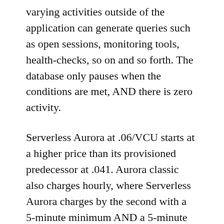varying activities outside of the application can generate queries such as open sessions, monitoring tools, health-checks, so on and so forth. The database only pauses when the conditions are met, AND there is zero activity.
Serverless Aurora at .06/VCU starts at a higher price than its provisioned predecessor at .041. Aurora classic also charges hourly, where Serverless Aurora charges by the second with a 5-minute minimum AND a 5-minute cool-down period. We already discussed that cool-downs in many cases are not instantaneous, and now you pile on that billing doesn't stop until an additional 5 minutes after that period. If you go with the traditional minimal setup of a VCU and never scale down the instances, the